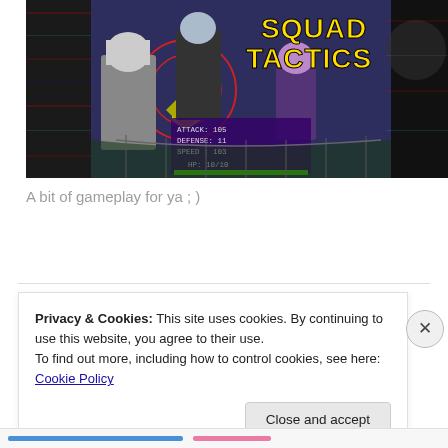[Figure (screenshot): Anime-style game screenshot with characters fighting. Shows 'SQUAD TACTICS' title in yellow text. Left panel shows character stats: ATTACK: 105, DEFENSE: 11, SPEED: 103, HP: 10/10. Background has glitch/VHS visual effects.]
A bit of gameplay for ya ; )
Privacy & Cookies: This site uses cookies. By continuing to use this website, you agree to their use. To find out more, including how to control cookies, see here: Cookie Policy